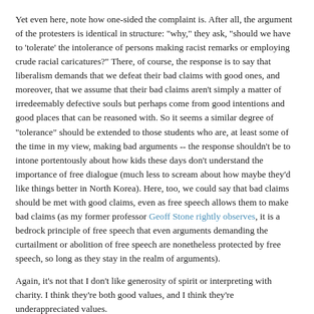Yet even here, note how one-sided the complaint is. After all, the argument of the protesters is identical in structure: "why," they ask, "should we have to 'tolerate' the intolerance of persons making racist remarks or employing crude racial caricatures?" There, of course, the response is to say that liberalism demands that we defeat their bad claims with good ones, and moreover, that we assume that their bad claims aren't simply a matter of irredeemably defective souls but perhaps come from good intentions and good places that can be reasoned with. So it seems a similar degree of "tolerance" should be extended to those students who are, at least some of the time in my view, making bad arguments -- the response shouldn't be to intone portentously about how kids these days don't understand the importance of free dialogue (much less to scream about how maybe they'd like things better in North Korea). Here, too, we could say that bad claims should be met with good claims, even as free speech allows them to make bad claims (as my former professor Geoff Stone rightly observes, it is a bedrock principle of free speech that even arguments demanding the curtailment or abolition of free speech are nonetheless protected by free speech, so long as they stay in the realm of arguments).
Again, it's not that I don't like generosity of spirit or interpreting with charity. I think they're both good values, and I think they're underappreciated values.